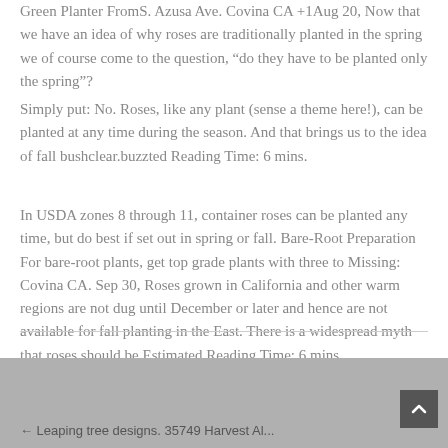Green Planter FromS. Azusa Ave. Covina CA +1Aug 20, Now that we have an idea of why roses are traditionally planted in the spring we of course come to the question, “do they have to be planted only the spring”?
Simply put: No. Roses, like any plant (sense a theme here!), can be planted at any time during the season. And that brings us to the idea of fall bushclear.buzzted Reading Time: 6 mins.
In USDA zones 8 through 11, container roses can be planted any time, but do best if set out in spring or fall. Bare-Root Preparation For bare-root plants, get top grade plants with three to Missing: Covina CA. Sep 30, Roses grown in California and other warm regions are not dug until December or later and hence are not available for fall planting in the East. There is a widespread myth that roses should be Estimated Reading Time: 6 mins.
Leaping tree designs. 35749 Harvest Al...